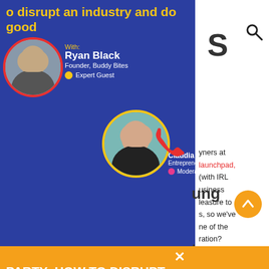o disrupt an industry and do good
[Figure (photo): Ryan Black photo in circular frame with red border]
With: Ryan Black
Founder, Buddy Bites
● Expert Guest
[Figure (photo): Claudia Solenthaler photo in circular frame with gold border]
Claudia Solenthaler
Entrepreneur
● Moderator
PARTY: HOW TO DISRUPT AN INDUSTRY AND DO GOOD
Launchpad's Ask Party and learn from Ryan
ut how he disrupted the pet food industry and
good as the central mission of his company.
SIGN UP
S
yners at
launchpad,
(with IRL
usiness
leasure to
s, so we've
ne of the
ration?
boss.
ung
to